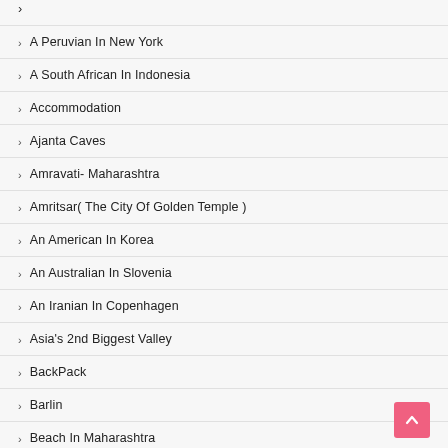A Peruvian In New York
A South African In Indonesia
Accommodation
Ajanta Caves
Amravati- Maharashtra
Amritsar( The City Of Golden Temple )
An American In Korea
An Australian In Slovenia
An Iranian In Copenhagen
Asia's 2nd Biggest Valley
BackPack
Barlin
Beach In Maharashtra
Becca Warner
Belgaon